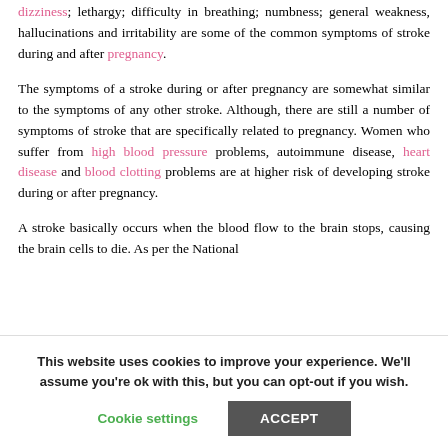dizziness; lethargy; difficulty in breathing; numbness; general weakness, hallucinations and irritability are some of the common symptoms of stroke during and after pregnancy.
The symptoms of a stroke during or after pregnancy are somewhat similar to the symptoms of any other stroke. Although, there are still a number of symptoms of stroke that are specifically related to pregnancy. Women who suffer from high blood pressure problems, autoimmune disease, heart disease and blood clotting problems are at higher risk of developing stroke during or after pregnancy.
A stroke basically occurs when the blood flow to the brain stops, causing the brain cells to die. As per the National
This website uses cookies to improve your experience. We'll assume you're ok with this, but you can opt-out if you wish.
Cookie settings | ACCEPT